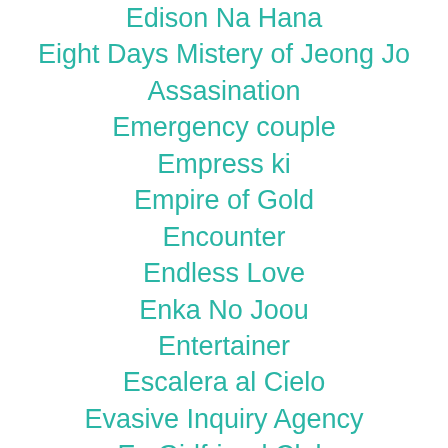Edison Na Hana
Eight Days Mistery of Jeong Jo Assasination
Emergency couple
Empress ki
Empire of Gold
Encounter
Endless Love
Enka No Joou
Entertainer
Escalera al Cielo
Evasive Inquiry Agency
Ex-Girlfriend Club
EXO Next Door
Extraordinary Attorney Woo
Extraordinary You